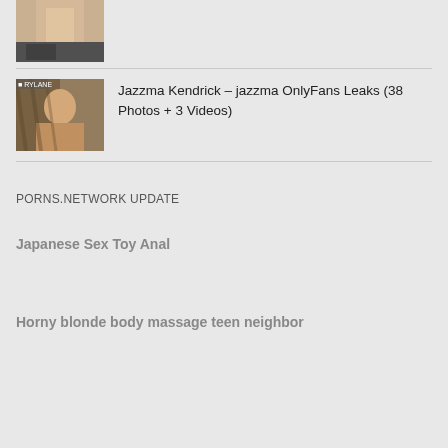[Figure (photo): Partial thumbnail image of a person at top of page]
[Figure (photo): Thumbnail of Jazzma Kendrick posing]
Jazzma Kendrick – jazzma OnlyFans Leaks (38 Photos + 3 Videos)
PORNS.NETWORK UPDATE
Japanese Sex Toy Anal
Horny blonde body massage teen neighbor